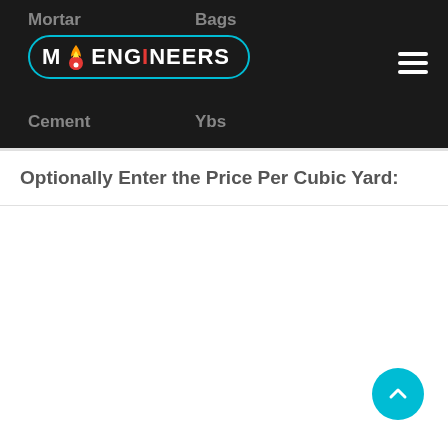Mortar   Bags   Cement   Ybs
[Figure (logo): MO Engineers logo with flame icon inside a cyan rounded-rectangle border on dark background, with hamburger menu icon on the right]
Optionally Enter the Price Per Cubic Yard: